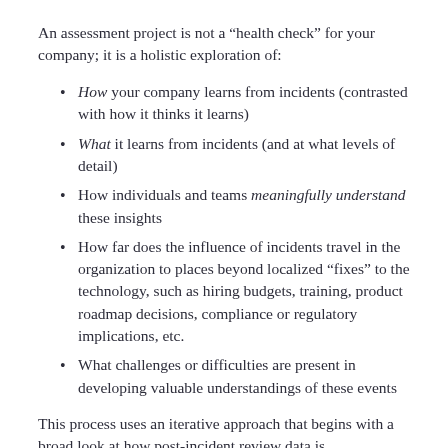An assessment project is not a “health check” for your company; it is a holistic exploration of:
How your company learns from incidents (contrasted with how it thinks it learns)
What it learns from incidents (and at what levels of detail)
How individuals and teams meaningfully understand these insights
How far does the influence of incidents travel in the organization to places beyond localized “fixes” to the technology, such as hiring budgets, training, product roadmap decisions, compliance or regulatory implications, etc.
What challenges or difficulties are present in developing valuable understandings of these events
This process uses an iterative approach that begins with a broad look at how post-incident review data is